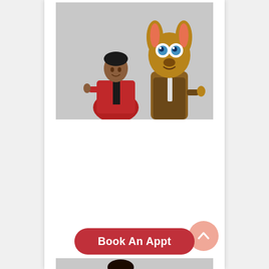[Figure (photo): A woman in a red blazer giving thumbs up standing next to a person in a kangaroo mascot costume in a brown suit, against a grey background.]
[Figure (other): A salmon/coral colored circular scroll-to-top button with an upward-pointing chevron arrow.]
Book An Appt
[Figure (photo): A partial photo showing a man and two women/children smiling, against a grey background.]